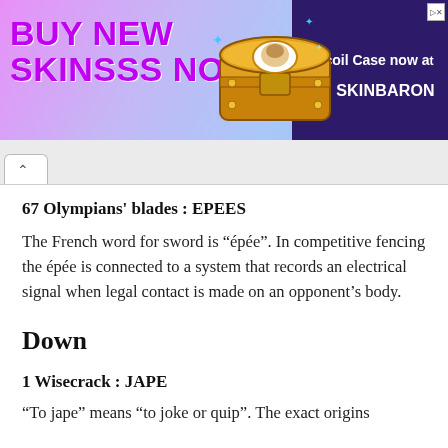[Figure (other): Advertisement banner: 'BUY NEW SKINSSS NOW' with a golden loot chest image and SkinBaron branding on dark purple background]
67 Olympians' blades : EPEES
The French word for sword is "épée". In competitive fencing the épée is connected to a system that records an electrical signal when legal contact is made on an opponent's body.
Down
1 Wisecrack : JAPE
"To jape" means "to joke or quip". The exact origins of "jape" are unclear, but it has come to mean a form of...